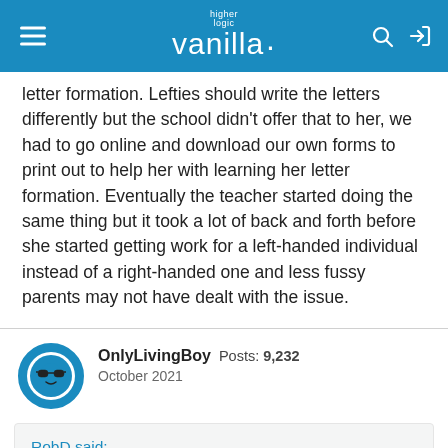higher logic vanilla
letter formation. Lefties should write the letters differently but the school didn't offer that to her, we had to go online and download our own forms to print out to help her with learning her letter formation. Eventually the teacher started doing the same thing but it took a lot of back and forth before she started getting work for a left-handed individual instead of a right-handed one and less fussy parents may not have dealt with the issue.
OnlyLivingBoy Posts: 9,232 October 2021
RobD said: show previous quotes